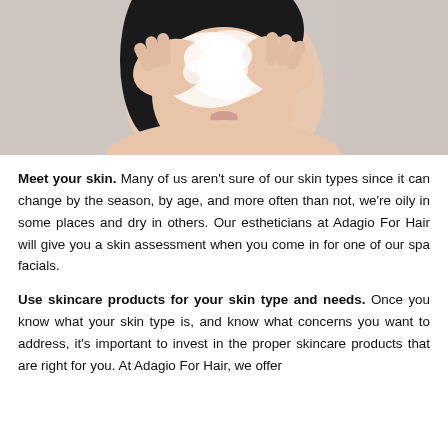[Figure (photo): A woman washing her face with soapy lather, hands pressed to her cheeks, eyes closed, photographed against a light grey background.]
Meet your skin. Many of us aren't sure of our skin types since it can change by the season, by age, and more often than not, we're oily in some places and dry in others. Our estheticians at Adagio For Hair will give you a skin assessment when you come in for one of our spa facials.
Use skincare products for your skin type and needs. Once you know what your skin type is, and know what concerns you want to address, it's important to invest in the proper skincare products that are right for you. At Adagio For Hair, we offer